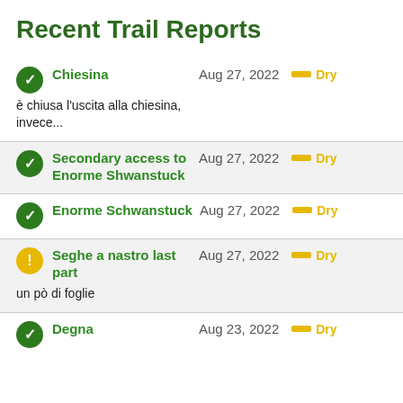Recent Trail Reports
Chiesina | Aug 27, 2022 | Dry
è chiusa l'uscita alla chiesina, invece...
Secondary access to Enorme Shwanstuck | Aug 27, 2022 | Dry
Enorme Schwanstuck | Aug 27, 2022 | Dry
Seghe a nastro last part | Aug 27, 2022 | Dry
un pò di foglie
Degna | Aug 23, 2022 | Dry